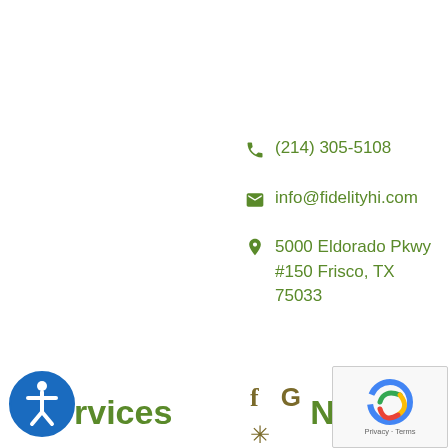(214) 305-5108
info@fidelityhi.com
5000 Eldorado Pkwy #150 Frisco, TX 75033
[Figure (infographic): Social media icons: Facebook (f), Google (G), Yelp (asterisk star)]
rvices
Navigate
[Figure (illustration): Blue accessibility/wheelchair icon circle]
[Figure (illustration): reCAPTCHA Privacy-Terms badge]